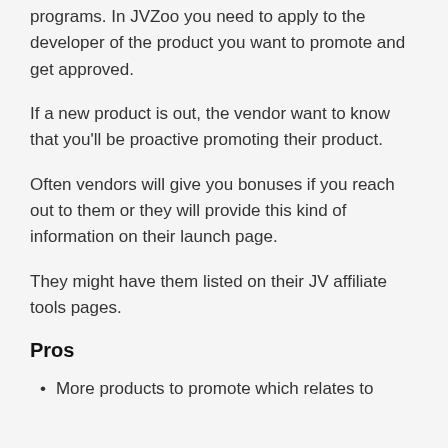programs. In JVZoo you need to apply to the developer of the product you want to promote and get approved.
If a new product is out, the vendor want to know that you'll be proactive promoting their product.
Often vendors will give you bonuses if you reach out to them or they will provide this kind of information on their launch page.
They might have them listed on their JV affiliate tools pages.
Pros
More products to promote which relates to